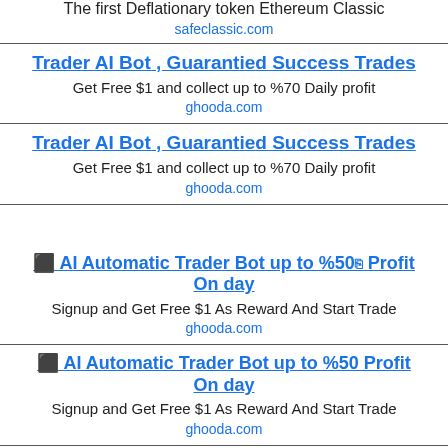The first Deflationary token Ethereum Classic
safeclassic.com
Trader AI Bot , Guarantied Success Trades
Get Free $1 and collect up to %70 Daily profit
ghooda.com
Trader AI Bot , Guarantied Success Trades
Get Free $1 and collect up to %70 Daily profit
ghooda.com
⬛ AI Automatic Trader Bot up to %50 Profit On day
Signup and Get Free $1 As Reward And Start Trade
ghooda.com
⬛ AI Automatic Trader Bot up to %50 Profit On day
Signup and Get Free $1 As Reward And Start Trade
ghooda.com
#1 crypto gaming experience